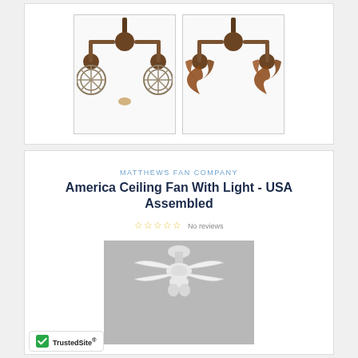[Figure (photo): Two dual-motor ceiling fans with dark bronze finish, shown hanging from ceiling mounts. Left fan has metallic blade guards, right fan has wooden blades.]
MATTHEWS FAN COMPANY
America Ceiling Fan With Light - USA Assembled
No reviews
[Figure (photo): White ceiling fan with four blades and light fixture, mounted on ceiling, shown from below at slight angle on gray background.]